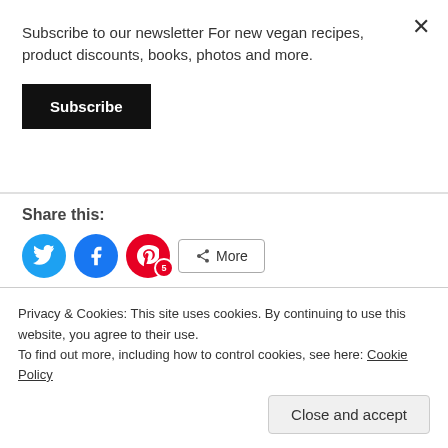Subscribe to our newsletter For new vegan recipes, product discounts, books, photos and more.
Subscribe
Share this:
[Figure (infographic): Social share buttons: Twitter (blue circle), Facebook (blue circle), Pinterest (red circle with badge showing 5), and More button]
Like this:
[Figure (infographic): Like button with star icon and row of avatar images of people who liked]
Privacy & Cookies: This site uses cookies. By continuing to use this website, you agree to their use.
To find out more, including how to control cookies, see here: Cookie Policy
Close and accept